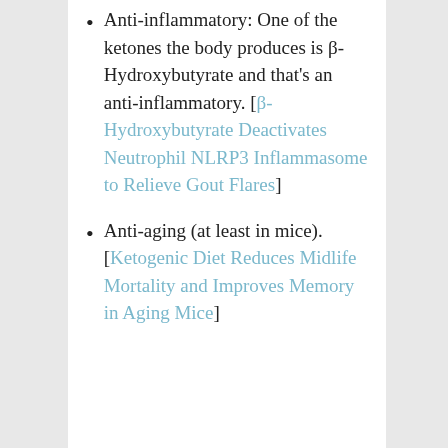Anti-inflammatory: One of the ketones the body produces is β-Hydroxybutyrate and that's an anti-inflammatory. [β-Hydroxybutyrate Deactivates Neutrophil NLRP3 Inflammasome to Relieve Gout Flares]
Anti-aging (at least in mice). [Ketogenic Diet Reduces Midlife Mortality and Improves Memory in Aging Mice]